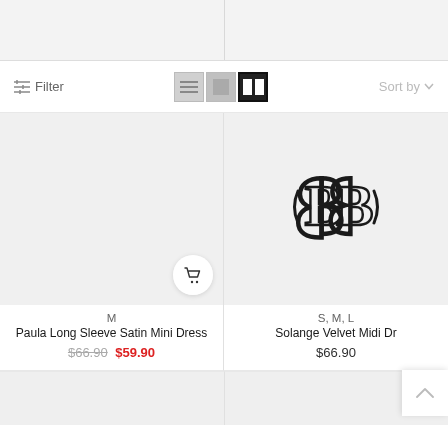[Figure (screenshot): Top banner area with two columns separated by a vertical line, gray background]
Filter
Sort by
M
Paula Long Sleeve Satin Mini Dress
$66.90  $59.90
[Figure (logo): BB brand logo with double B letterform in serif style]
S, M, L
Solange Velvet Midi Dr
$66.90
[Figure (screenshot): Bottom partial row of product grid, two gray cells]